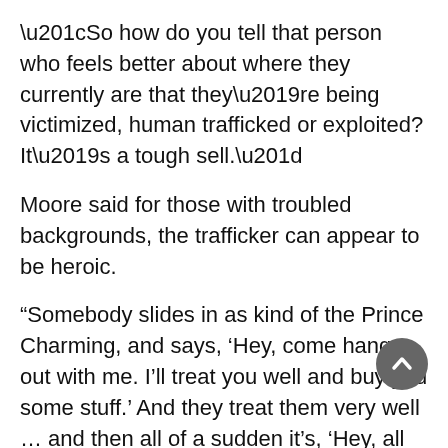“So how do you tell that person who feels better about where they currently are that they’re being victimized, human trafficked or exploited? It’s a tough sell.”
Moore said for those with troubled backgrounds, the trafficker can appear to be heroic.
“Somebody slides in as kind of the Prince Charming, and says, ‘Hey, come hang out with me. I’ll treat you well and buy you some stuff.’ And they treat them very well … and then all of a sudden it’s, ‘Hey, all of this isn’t for free.’”
Moore said trafficking victims are disproportionately Indigenous.
“A lot of these people come from very marginalized communities. The number of Indigenous folks across the